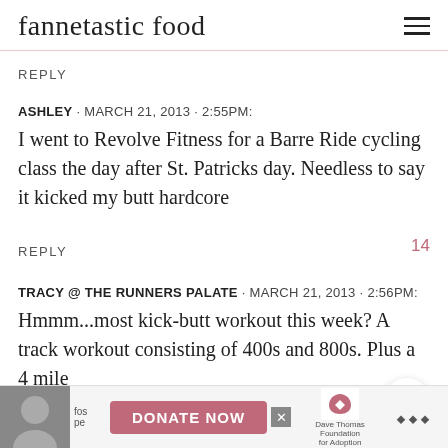fannetastic food
REPLY
ASHLEY · MARCH 21, 2013 · 2:55PM:
I went to Revolve Fitness for a Barre Ride cycling class the day after St. Patricks day. Needless to say it kicked my butt hardcore
REPLY
TRACY @ THE RUNNERS PALATE · MARCH 21, 2013 · 2:56PM:
Hmmm...most kick-butt workout this week? A track workout consisting of 400s and 800s. Plus a 4 mile